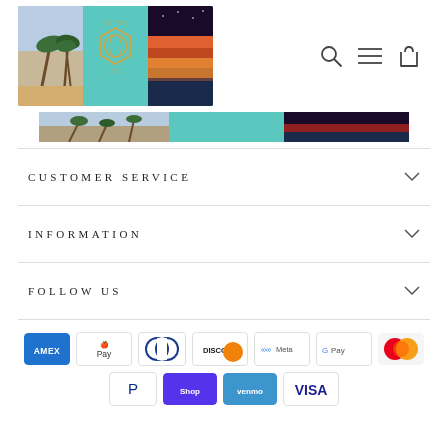[Figure (logo): Sotta G71 brand logo: three-panel banner with palm trees, teal hexagon logo, and sunset over water]
[Figure (infographic): Navigation icons: search (magnifier), hamburger menu, and shopping bag]
[Figure (illustration): Thin banner strip with palm trees, teal color block, and night sky panels]
CUSTOMER SERVICE
INFORMATION
FOLLOW US
[Figure (infographic): Payment method icons: Amex, Apple Pay, Diners Club, Discover, Meta Pay, Google Pay, Mastercard, PayPal, Shop Pay, Venmo, Visa]